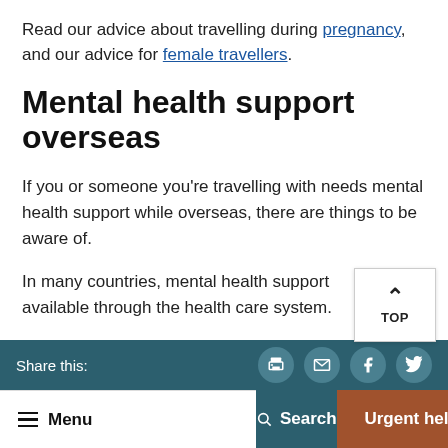Read our advice about travelling during pregnancy, and our advice for female travellers.
Mental health support overseas
If you or someone you're travelling with needs mental health support while overseas, there are things to be aware of.
In many countries, mental health support available through the health care system.
Share this: [print] [email] [facebook] [twitter] | Menu | Search | Urgent help